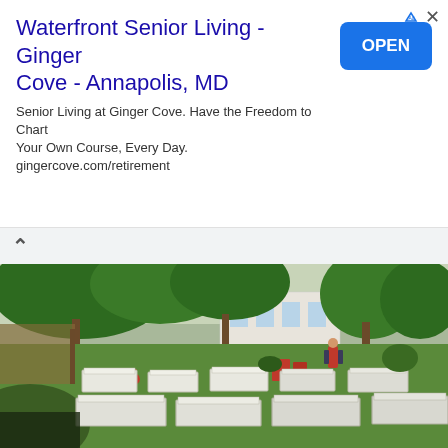Waterfront Senior Living - Ginger Cove - Annapolis, MD
Senior Living at Ginger Cove. Have the Freedom to Chart Your Own Course, Every Day. gingercove.com/retirement
[Figure (photo): Outdoor cemetery or memorial garden with multiple white rectangular raised grave markers arranged on green grass, with trees and a building in the background. A person in a red shirt stands near the middle-left area beside a red motorcycle.]